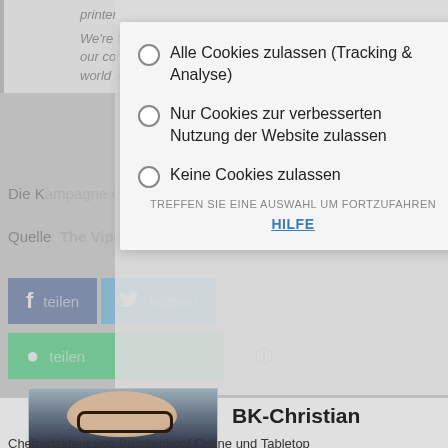printer.
We're living in the future, where we can design something on our computer, and people can make it half-way around the world in a few hours.
Die Kampagne endet morgen und ist finanziert.
Quelle: The Viper Suit From Rebel Minis Digital Direct
[Figure (screenshot): Cookie consent modal overlay with three options: 'Alle Cookies zulassen (Tracking & Analyse)', 'Nur Cookies zur verbesserten Nutzung der Website zulassen', 'Keine Cookies zulassen', with text 'TREFFEN SIE EINE AUSWAHL UM FORTZUFAHREN' and 'HILFE' link]
Alle Cookies zulassen (Tracking & Analyse)
Nur Cookies zur verbesserten Nutzung der Website zulassen
Keine Cookies zulassen
TREFFEN SIE EINE AUSWAHL UM FORTZUFAHREN
HILFE
[Figure (photo): Photo of a young man with glasses and dark hair, wearing a dark sweater]
BK-Christian
Chefredakteur von Brückenkopf Online und Tabletop